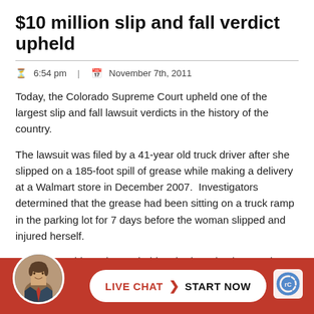$10 million slip and fall verdict upheld
6:54 pm  |  November 7th, 2011
Today, the Colorado Supreme Court upheld one of the largest slip and fall lawsuit verdicts in the history of the country.
The lawsuit was filed by a 41-year old truck driver after she slipped on a 185-foot spill of grease while making a delivery at a Walmart store in December 2007.  Investigators determined that the grease had been sitting on a truck ramp in the parking lot for 7 days before the woman slipped and injured herself.
After the accident, the truck driver had two back surgeries and a neck surgery and was no longer able to work.  The victim's medical bills from the injuries she suffered in the accident totaled around $500,000.
Last year, a jury awarded the woman $15 million, but the award redu... mi...
[Figure (other): Live chat button bar with lawyer avatar photo, red background, white pill-shaped button reading LIVE CHAT > START NOW, and reCAPTCHA badge.]